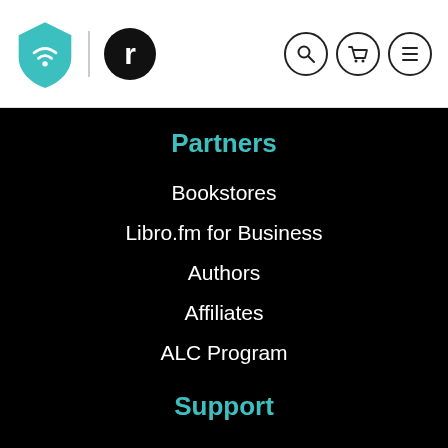[Figure (logo): Libro.fm shield logo (teal) and Readable 'r' logo (black circle with white r), navigation header with search, cart, and menu icons]
Partners
Bookstores
Libro.fm for Business
Authors
Affiliates
ALC Program
Support
Help center
Contact us